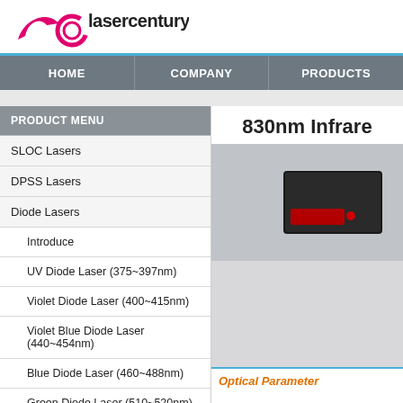[Figure (logo): LaserCentury company logo with pink/magenta boomerang shape and circular element]
HOME | COMPANY | PRODUCTS
PRODUCT MENU
SLOC Lasers
DPSS Lasers
Diode Lasers
Introduce
UV Diode Laser (375~397nm)
Violet Diode Laser (400~415nm)
Violet Blue Diode Laser (440~454nm)
Blue Diode Laser (460~488nm)
Green Diode Laser (510~520nm)
Red Diode Laser (622~635nm)
Red Diode Laser (637~640nm)
830nm Infrare
[Figure (photo): Photo of 830nm infrared laser product - black box device with blue fiber optic cable]
Optical Parameter